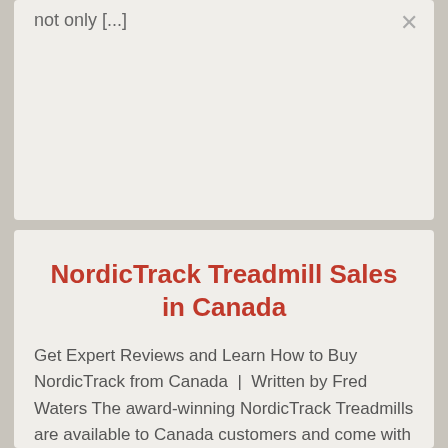not only [...]
Read More
NordicTrack Treadmill Sales in Canada
Get Expert Reviews and Learn How to Buy NordicTrack from Canada  |  Written by Fred Waters The award-winning NordicTrack Treadmills are available to Canada customers and come with Free Shipping when you order online directly from the NordicTrack Canadian site.  However, selecting the right treadmill for your budget and your body can be a challenge [...]